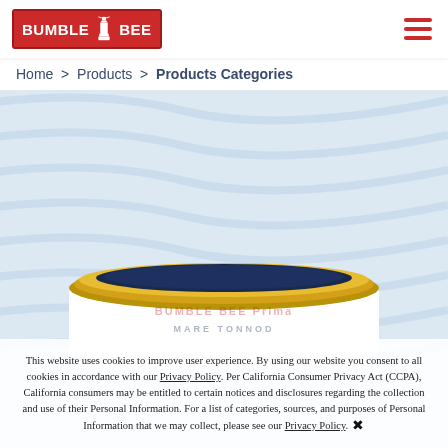[Figure (logo): Bumble Bee Foods logo - red rectangle with white lighthouse icon and white text BUMBLE BEE]
[Figure (illustration): Hamburger menu icon - three red horizontal lines]
Home > Products > Products Categories
[Figure (photo): Top view of a Bumble Bee tuna can with gold lid, white body, partially visible label reading BUMBLE BEE Prima and MARE TONNOD]
This website uses cookies to improve user experience. By using our website you consent to all cookies in accordance with our Privacy Policy. Per California Consumer Privacy Act (CCPA), California consumers may be entitled to certain notices and disclosures regarding the collection and use of their Personal Information. For a list of categories, sources, and purposes of Personal Information that we may collect, please see our Privacy Policy. ✖